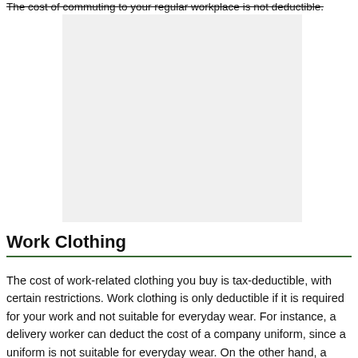The cost of commuting to your regular workplace is not deductible.
[Figure (other): Light gray rectangular placeholder image]
Work Clothing
The cost of work-related clothing you buy is tax-deductible, with certain restrictions. Work clothing is only deductible if it is required for your work and not suitable for everyday wear. For instance, a delivery worker can deduct the cost of a company uniform, since a uniform is not suitable for everyday wear. On the other hand, a